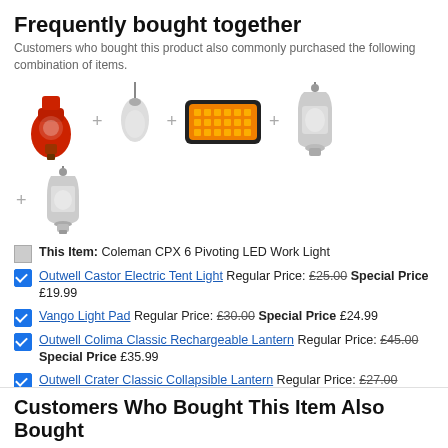Frequently bought together
Customers who bought this product also commonly purchased the following combination of items.
[Figure (photo): Five product images arranged in a row with plus signs between them: Coleman CPX 6 Pivoting LED Work Light (red), a hanging pendant light, Vango Light Pad (orange rectangular), Outwell Colima Classic Rechargeable Lantern, and a second row with plus and Outwell Crater Classic Collapsible Lantern.]
This Item: Coleman CPX 6 Pivoting LED Work Light
Outwell Castor Electric Tent Light Regular Price: £25.00 Special Price £19.99
Vango Light Pad Regular Price: £30.00 Special Price £24.99
Outwell Colima Classic Rechargeable Lantern Regular Price: £45.00 Special Price £35.99
Outwell Crater Classic Collapsible Lantern Regular Price: £27.00 Special Price £21.99
Total Price £137.95
Customers Who Bought This Item Also Bought